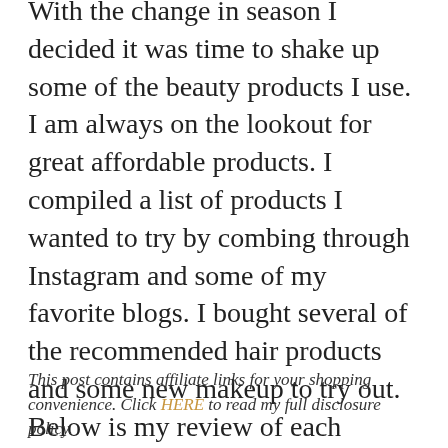With the change in season I decided it was time to shake up some of the beauty products I use. I am always on the lookout for great affordable products. I compiled a list of products I wanted to try by combing through Instagram and some of my favorite blogs. I bought several of the recommended hair products and some new makeup to try out. Below is my review of each product. Just click on the image if you want to be directed to the product website. Hope you can find something new to add to your beauty routine!
This post contains affiliate links for your shopping convenience. Click HERE to read my full disclosure policy.